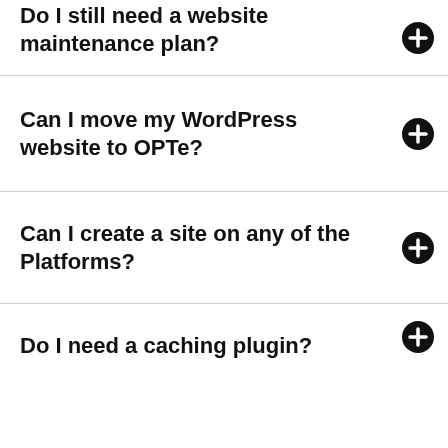Do I still need a website maintenance plan?
Can I move my WordPress website to OPTe?
Can I create a site on any of the Platforms?
Do I need a caching plugin?